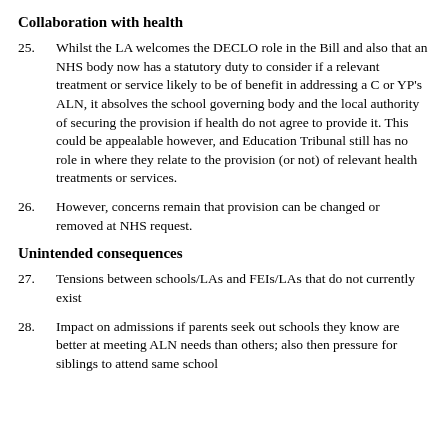Collaboration with health
25. Whilst the LA welcomes the DECLO role in the Bill and also that an NHS body now has a statutory duty to consider if a relevant treatment or service likely to be of benefit in addressing a C or YP's ALN, it absolves the school governing body and the local authority of securing the provision if health do not agree to provide it. This could be appealable however, and Education Tribunal still has no role in where they relate to the provision (or not) of relevant health treatments or services.
26. However, concerns remain that provision can be changed or removed at NHS request.
Unintended consequences
27. Tensions between schools/LAs and FEIs/LAs that do not currently exist
28. Impact on admissions if parents seek out schools they know are better at meeting ALN needs than others; also then pressure for siblings to attend same school